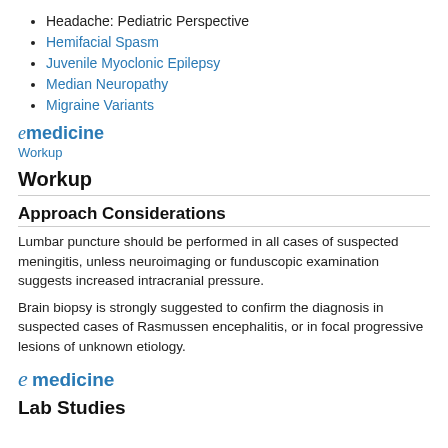Headache: Pediatric Perspective
Hemifacial Spasm
Juvenile Myoclonic Epilepsy
Median Neuropathy
Migraine Variants
emedicine Workup
Workup
Approach Considerations
Lumbar puncture should be performed in all cases of suspected meningitis, unless neuroimaging or funduscopic examination suggests increased intracranial pressure.
Brain biopsy is strongly suggested to confirm the diagnosis in suspected cases of Rasmussen encephalitis, or in focal progressive lesions of unknown etiology.
[Figure (logo): eMedicine logo]
Lab Studies